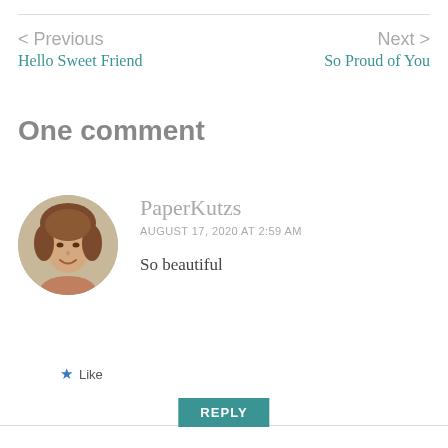< Previous
Hello Sweet Friend
Next >
So Proud of You
One comment
[Figure (photo): Circular avatar photo of a woman with brown hair, smiling]
PaperKutzs
AUGUST 17, 2020 AT 2:59 AM
So beautiful
Like
REPLY